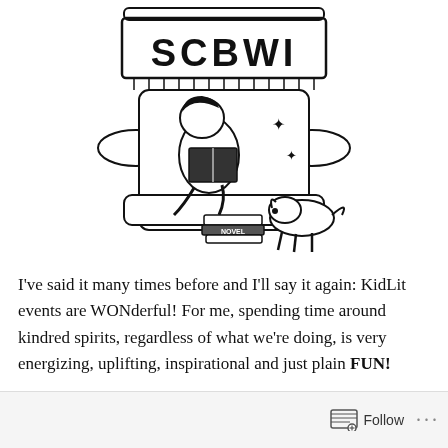[Figure (illustration): Black and white line drawing of the SCBWI logo: a child sitting in a large armchair reading a book, with a dog beside the chair and a stack of books labeled 'NOVEL' on the floor. The back of the chair has 'SCBWI' printed on it.]
I've said it many times before and I'll say it again: KidLit events are WONderful! For me, spending time around kindred spirits, regardless of what we're doing, is very energizing, uplifting, inspirational and just plain FUN!
Follow ···